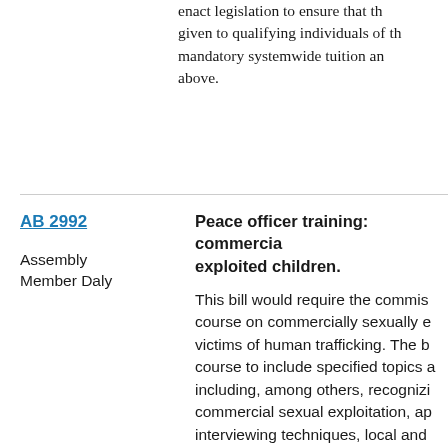enact legislation to ensure that the given to qualifying individuals of the mandatory systemwide tuition and above.
AB 2992
Assembly Member Daly
Peace officer training: commercially sexually exploited children.
This bill would require the commis course on commercially sexually ex victims of human trafficking. The b course to include specified topics a including, among others, recognizi commercial sexual exploitation, ap interviewing techniques, local and available to first responders, and i bill would require the course to be